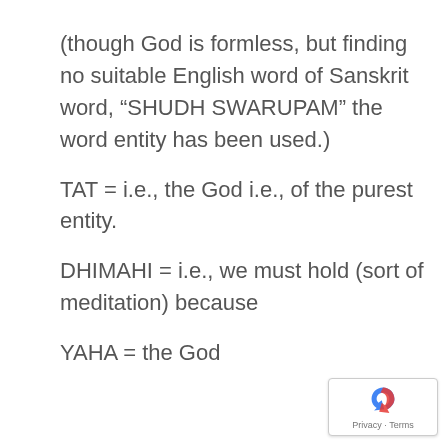(though God is formless, but finding no suitable English word of Sanskrit word, “SHUDH SWARUPAM” the word entity has been used.)
TAT = i.e., the God i.e., of the purest entity.
DHIMAHI = i.e., we must hold (sort of meditation) because
YAHA = the God